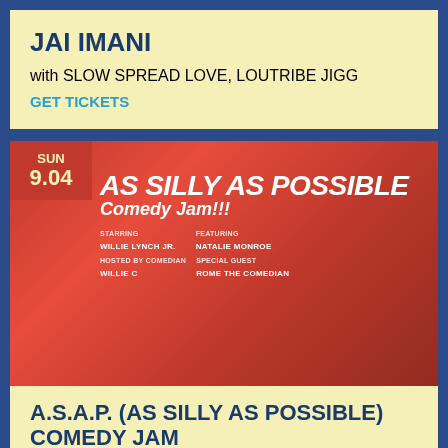JAI IMANI
with SLOW SPREAD LOVE, LOUTRIBE JIGG
GET TICKETS
[Figure (photo): Promotional poster for A.S.A.P. (As Silly As Possible) Comedy Jam on an orange/red background, featuring cast members. Date badge shows SUN 9.04.]
A.S.A.P. (AS SILLY AS POSSIBLE) COMEDY JAM